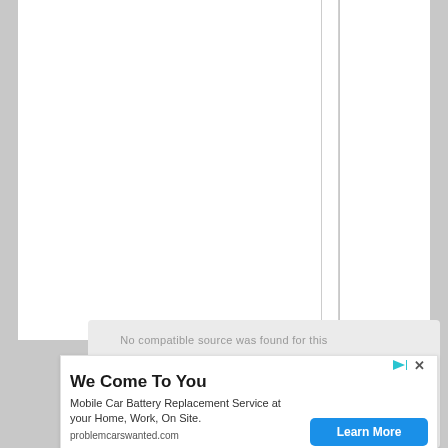[Figure (screenshot): A webpage screenshot showing a mostly blank two-column layout with a light gray background on the sides, white content columns separated by a vertical line, and a gray overlay panel partially covering the bottom of the content area. The overlay shows the text 'No compatible source was found for this media.' with a download/chevron icon. An advertisement banner overlays the bottom portion showing 'We Come To You' for a mobile car battery replacement service.]
No compatible source was found for this media.
We Come To You
Mobile Car Battery Replacement Service at your Home, Work, On Site.
problemcarswanted.com
Learn More